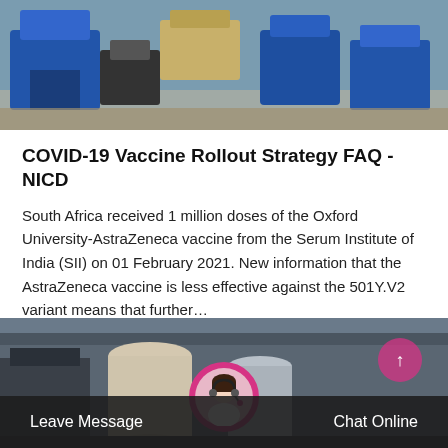[Figure (photo): Industrial machinery with blue hoppers/equipment]
COVID-19 Vaccine Rollout Strategy FAQ - NICD
South Africa received 1 million doses of the Oxford University-AstraZeneca vaccine from the Serum Institute of India (SII) on 01 February 2021. New information that the AstraZeneca vaccine is less effective against the 501Y.V2 variant means that further…
[Figure (other): Get Price button - pink/magenta rounded rectangle]
[Figure (photo): Industrial storage silos/tanks in a warehouse]
Leave Message   Chat Online